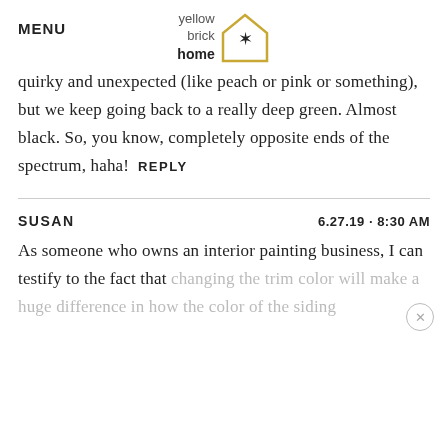MENU | yellow brick home logo
quirky and unexpected (like peach or pink or something), but we keep going back to a really deep green. Almost black. So, you know, completely opposite ends of the spectrum, haha!  REPLY
SUSAN  6.27.19 · 8:30 AM
As someone who owns an interior painting business, I can testify to the fact that changing the trim color will make a huge difference in how the color of the siding